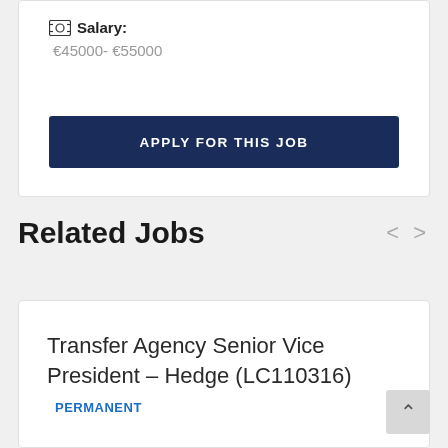Salary: €45000- €55000
APPLY FOR THIS JOB
Related Jobs
Transfer Agency Senior Vice President – Hedge (LC110316)  PERMANENT